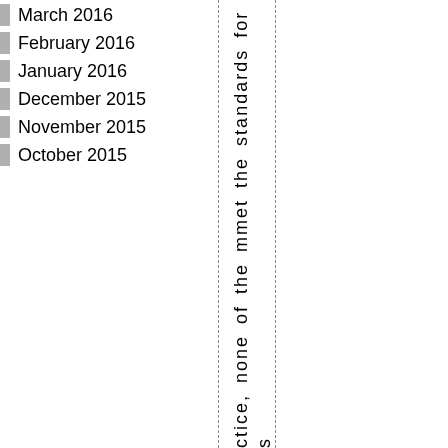March 2016
February 2016
January 2016
December 2015
November 2015
October 2015
ctice, none of the mmet the standards for s